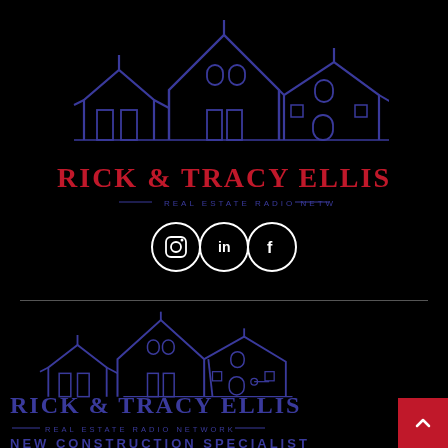[Figure (logo): Blue outline illustration of houses/rooftops — Rick & Tracy Ellis Real Estate Radio Network logo (top, centered)]
RICK & TRACY ELLIS
— REAL ESTATE RADIO NETWORK —
[Figure (illustration): Three white circle social media icons: Instagram, LinkedIn, Facebook]
[Figure (logo): Blue outline illustration of houses/rooftops — Rick & Tracy Ellis Real Estate Radio Network logo (bottom, left-aligned)]
RICK & TRACY ELLIS
— REAL ESTATE RADIO NETWORK —
NEW CONSTRUCTION SPECIALIST